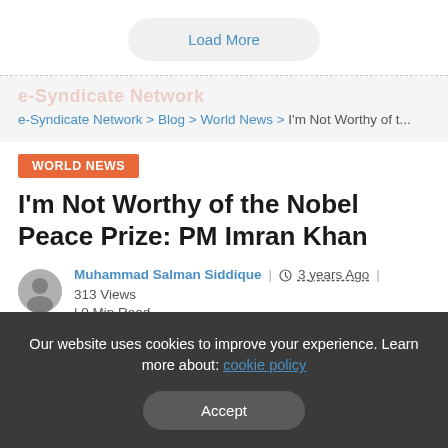Load More
e-Syndicate Network > Blog > World News > I'm Not Worthy of t...
WORLD NEWS
I'm Not Worthy of the Nobel Peace Prize: PM Imran Khan
Muhammad Salman Siddique | 3 years Ago | 313 Views | 0 Min Read
Our website uses cookies to improve your experience. Learn more about: cookie policy
Accept